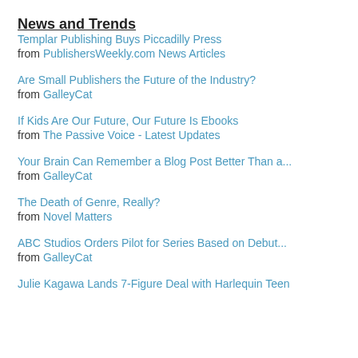News and Trends
Templar Publishing Buys Piccadilly Press from PublishersWeekly.com News Articles
Are Small Publishers the Future of the Industry? from GalleyCat
If Kids Are Our Future, Our Future Is Ebooks from The Passive Voice - Latest Updates
Your Brain Can Remember a Blog Post Better Than a... from GalleyCat
The Death of Genre, Really? from Novel Matters
ABC Studios Orders Pilot for Series Based on Debut... from GalleyCat
Julie Kagawa Lands 7-Figure Deal with Harlequin Teen